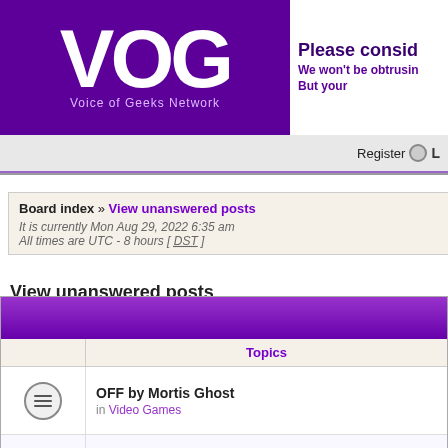[Figure (logo): VOG - Voice of Geeks Network logo in white on purple background, with partial advertisement banner on right saying 'Please consid...', 'We won't be obtrusin...', 'But your...']
Register  L
Board index » View unanswered posts
It is currently Mon Aug 29, 2022 6:35 am
All times are UTC - 8 hours [ DST ]
View unanswered posts
|  | Topics |
| --- | --- |
| [icon] | OFF by Mortis Ghost
in Video Games |
| [icon] | Get Lucky feat. K.K. Slider
in Music |
| [icon] | QLB: Allen's Skyrim UI/Quality of Life Must Have Mods... |